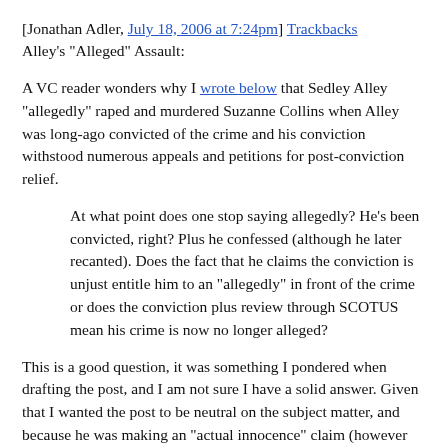[Jonathan Adler, July 18, 2006 at 7:24pm] Trackbacks
Alley's "Alleged" Assault:
A VC reader wonders why I wrote below that Sedley Alley "allegedly" raped and murdered Suzanne Collins when Alley was long-ago convicted of the crime and his conviction withstood numerous appeals and petitions for post-conviction relief.
At what point does one stop saying allegedly? He's been convicted, right? Plus he confessed (although he later recanted). Does the fact that he claims the conviction is unjust entitle him to an "allegedly" in front of the crime or does the conviction plus review through SCOTUS mean his crime is now no longer alleged?
This is a good question, it was something I pondered when drafting the post, and I am not sure I have a solid answer. Given that I wanted the post to be neutral on the subject matter, and because he was making an "actual innocence" claim (however improbable), I figured there was no harm in putting it in. Yet, as the reader notes, saying the crimes are only "alleged" after conviction and appeal seems to imply that the court system is not fair.